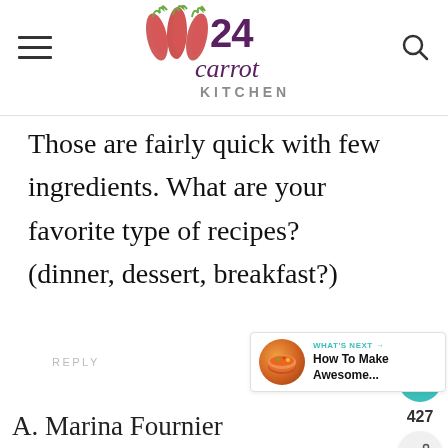[Figure (logo): 24 Carrot Kitchen logo with carrot illustrations and text]
Those are fairly quick with few ingredients. What are your favorite type of recipes? (dinner, dessert, breakfast?)
REPLY
[Figure (infographic): Floating action buttons: heart icon (teal circle), count 427, share icon (gray circle)]
[Figure (infographic): What's Next widget showing soup bowl image and text 'How To Make Awesome...']
A. Marina Fournier